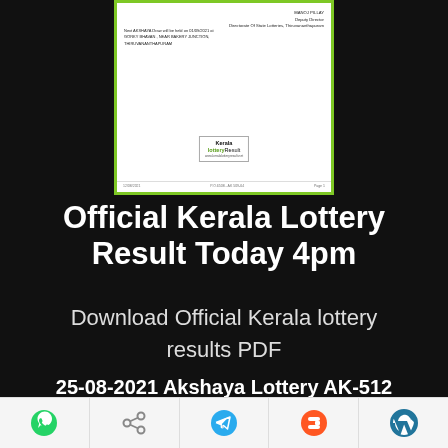[Figure (screenshot): Screenshot of Kerala lottery result PDF document showing official letterhead with MANOJ PILLAY Deputy Director signature, Directorate of State Lotteries Thiruvananthapuram, next AKSHAYA draw notice, Kerala Lottery Result logo, and footer bar. The document is shown with a green border.]
Official Kerala Lottery Result Today 4pm
Download Official Kerala lottery results PDF
25-08-2021 Akshaya Lottery AK-512
Official Kerala Lottery Result Today
[Figure (infographic): Bottom mobile share bar with icons: WhatsApp (green), Share (gray), Telegram (blue), Blogger (orange), WordPress (blue)]